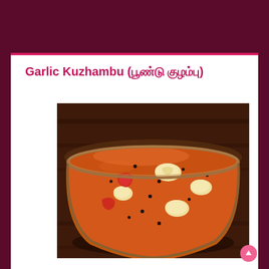Garlic Kuzhambu (பூண்டு குழம்பு)
[Figure (photo): A glass bowl filled with orange-red Garlic Kuzhambu curry with visible garlic cloves, tomato pieces, and black mustard seeds, placed on a dark wooden surface.]